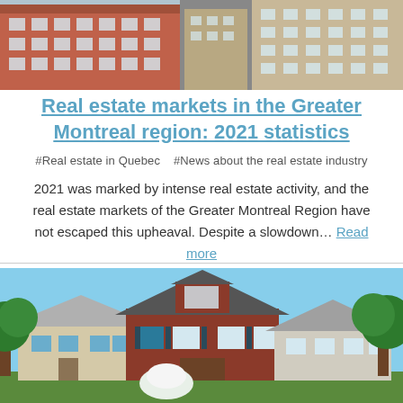[Figure (photo): Aerial view of urban apartment buildings and construction in Greater Montreal region]
Real estate markets in the Greater Montreal region: 2021 statistics
#Real estate in Quebec    #News about the real estate industry
2021 was marked by intense real estate activity, and the real estate markets of the Greater Montreal Region have not escaped this upheaval. Despite a slowdown… Read more
[Figure (photo): Suburban houses with trees in front, red brick colonial style homes]